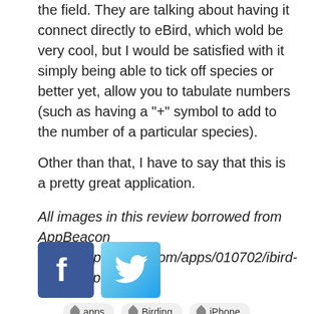the field. They are talking about having it connect directly to eBird, which wold be very cool, but I would be satisfied with it simply being able to tick off species or better yet, allow you to tabulate numbers (such as having a "+" symbol to add to the number of a particular species).
Other than that, I have to say that this is a pretty great application.
All images in this review borrowed from AppBeacon (http://appbeacon.com/apps/010702/ibird-explorer-plus).
[Figure (logo): Facebook and Twitter social share buttons]
apps
Birding
iPhone